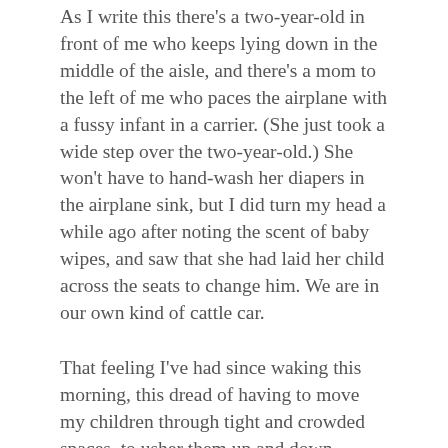As I write this there's a two-year-old in front of me who keeps lying down in the middle of the aisle, and there's a mom to the left of me who paces the airplane with a fussy infant in a carrier. (She just took a wide step over the two-year-old.) She won't have to hand-wash her diapers in the airplane sink, but I did turn my head a while ago after noting the scent of baby wipes, and saw that she had laid her child across the seats to change him. We are in our own kind of cattle car.
That feeling I've had since waking this morning, this dread of having to move my children through tight and crowded spaces, to usher them up and down escalators, to herd them to the right side of any corridor, I'm sure that feeling was familiar to my great-grandmother Bertha  who cared deeply about propriety, about keeping her family safe but also organized and tidy. Even in 2016, with every